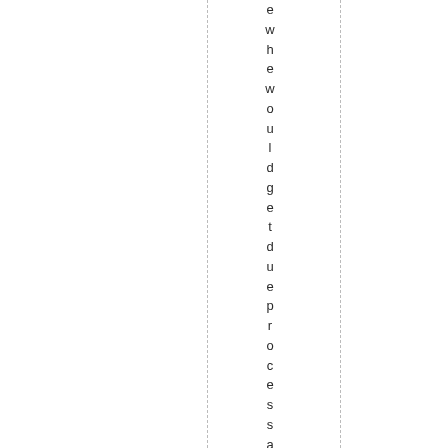e w h e w o u l d g e t d u e p r o c e s s a n d r e c o u